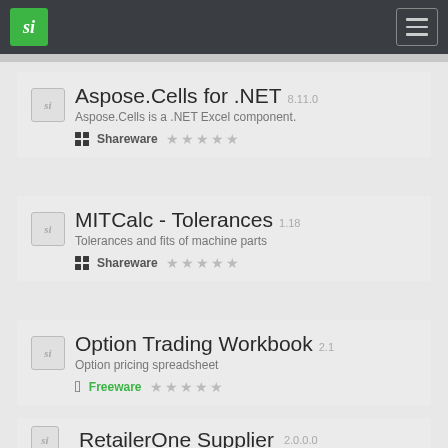si — navigation bar with menu
Aspose.Cells for .NET 8.11.0 — Aspose.Cells is a .NET Excel component. Shareware
MITCalc - Tolerances 1.18 — Tolerances and fits of machine parts. Shareware
Option Trading Workbook 2.1 — Option pricing spreadsheet. Freeware
RetailerOne Supplier 2.0.0.0 (partial)